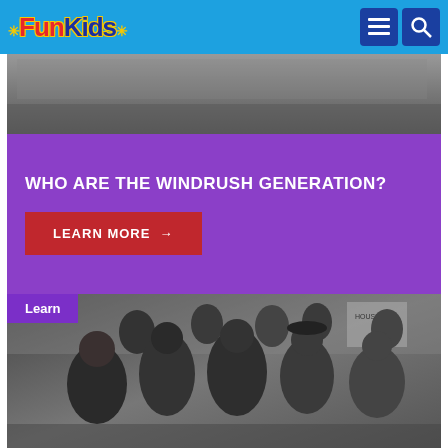Fun Kids
[Figure (photo): Black and white photograph, top portion of a historical scene, partially cropped]
WHO ARE THE WINDRUSH GENERATION?
LEARN MORE →
Learn
[Figure (photo): Black and white historical photograph of a group of men standing together outside a building, Windrush generation]